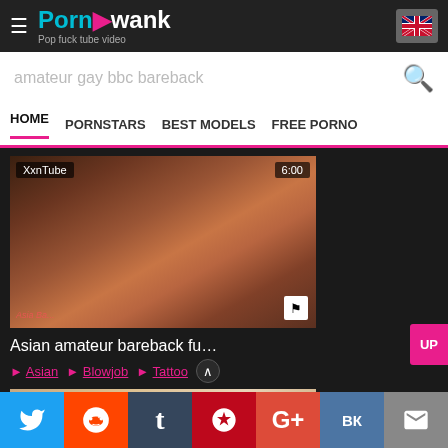PornAwank - Pop fuck tube video
amateur gay bbc bareback
HOME  PORNSTARS  BEST MODELS  FREE PORNO
[Figure (screenshot): Video thumbnail for Asian amateur bareback fu... with labels XxnTube and 6:00]
Asian amateur bareback fu...
Asian  Blowjob  Tattoo
[Figure (screenshot): Video thumbnail with HdGays label, HD badge, and 6:06 duration]
Social share bar: Twitter, Reddit, Tumblr, Pinterest, Google+, VK, Email